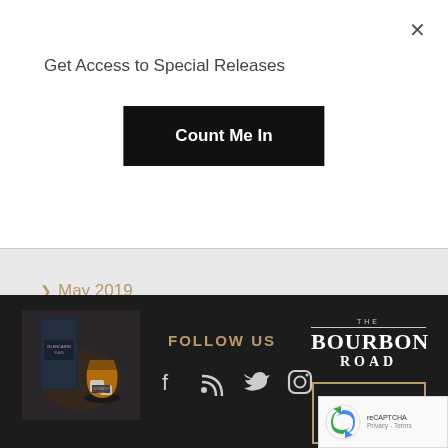×
Get Access to Special Releases
Count Me In
> May 2019
> March 2019
[Figure (photo): Glencairn glass product photo with whiskey glass and ice]
FOLLOW US
[Figure (logo): The Bourbon Road logo with horizontal lines]
[Figure (infographic): Social media icons: Facebook, RSS, Twitter, Instagram]
PODCAST EPISODES
[Figure (other): reCAPTCHA widget with Privacy - Terms]